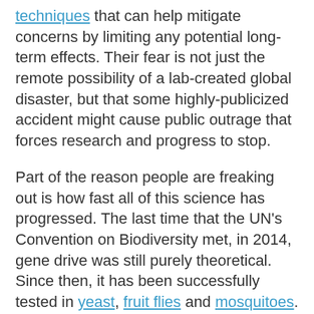techniques that can help mitigate concerns by limiting any potential long-term effects. Their fear is not just the remote possibility of a lab-created global disaster, but that some highly-publicized accident might cause public outrage that forces research and progress to stop.
Part of the reason people are freaking out is how fast all of this science has progressed. The last time that the UN's Convention on Biodiversity met, in 2014, gene drive was still purely theoretical. Since then, it has been successfully tested in yeast, fruit flies and mosquitoes.
Historically, even if scientists accidentally released some kind of horrible mutant man-eating fruit fly into the wild, after a few